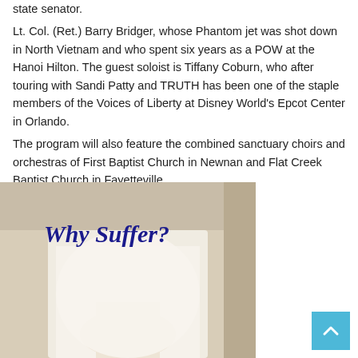state senator.
Lt. Col. (Ret.) Barry Bridger, whose Phantom jet was shot down in North Vietnam and who spent six years as a POW at the Hanoi Hilton. The guest soloist is Tiffany Coburn, who after touring with Sandi Patty and TRUTH has been one of the staple members of the Voices of Liberty at Disney World's Epcot Center in Orlando.
The program will also feature the combined sanctuary choirs and orchestras of First Baptist Church in Newnan and Flat Creek Baptist Church in Fayetteville.
[Figure (photo): Advertisement or article image showing a person in a white dress/skirt, with the text 'Why Suffer?' in bold dark blue italic serif font overlaid on the image.]